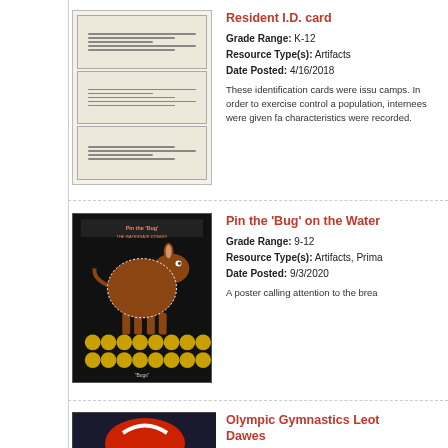[Figure (photo): Resident ID cards, three stacked forms with printed lines on beige paper]
Resident I.D. card
Grade Range: K-12
Resource Type(s): Artifacts
Date Posted: 4/16/2018
These identification cards were issued at camps. In order to exercise control a population, internees were given fa characteristics were recorded.
[Figure (photo): Pin the Bug on the Watergate Donkey game poster, showing a cartoon donkey on black background with gold coin symbols]
Pin the 'Bug' on the Water
Grade Range: 9-12
Resource Type(s): Artifacts, Prima
Date Posted: 9/3/2020
A poster calling attention to the brea
[Figure (photo): Olympic Gymnastics Leotard photo, partial view]
Olympic Gymnastics Leot Dawes